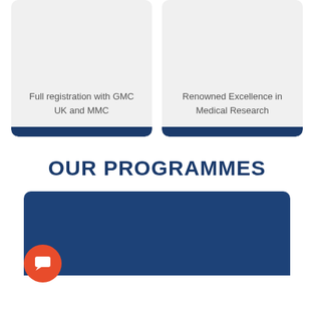[Figure (illustration): Card with gray background, text 'Full registration with GMC UK and MMC', and dark blue bar at bottom]
Full registration with GMC UK and MMC
[Figure (illustration): Card with gray background, text 'Renowned Excellence in Medical Research', and dark blue bar at bottom]
Renowned Excellence in Medical Research
OUR PROGRAMMES
[Figure (illustration): Dark blue banner/card with rounded top corners and a red chat button overlay at bottom left]
[Figure (illustration): Red circular chat button with speech bubble icon]